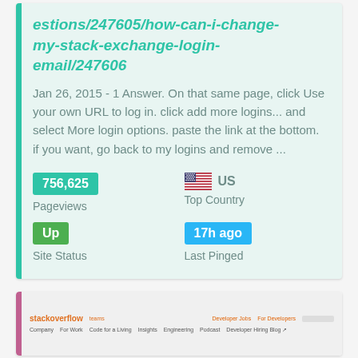estions/247605/how-can-i-change-my-stack-exchange-login-email/247606
Jan 26, 2015 - 1 Answer. On that same page, click Use your own URL to log in. click add more logins... and select More login options. paste the link at the bottom. if you want, go back to my logins and remove ...
756,625 Pageviews
US Top Country
Up Site Status
17h ago Last Pinged
[Figure (screenshot): Screenshot of Stack Overflow website showing the logo, navigation menu with Company, For Work, Code for a Living, Insights, Engineering, Podcast, Developer Hiring Blog links]